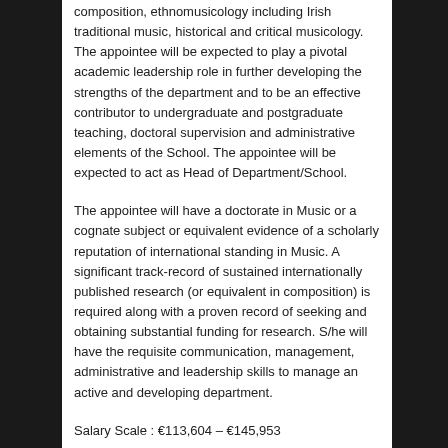composition, ethnomusicology including Irish traditional music, historical and critical musicology. The appointee will be expected to play a pivotal academic leadership role in further developing the strengths of the department and to be an effective contributor to undergraduate and postgraduate teaching, doctoral supervision and administrative elements of the School. The appointee will be expected to act as Head of Department/School.
The appointee will have a doctorate in Music or a cognate subject or equivalent evidence of a scholarly reputation of international standing in Music. A significant track-record of sustained internationally published research (or equivalent in composition) is required along with a proven record of seeking and obtaining substantial funding for research. S/he will have the requisite communication, management, administrative and leadership skills to manage an active and developing department.
Salary Scale : €113,604 – €145,953
For informal discussion, contact: